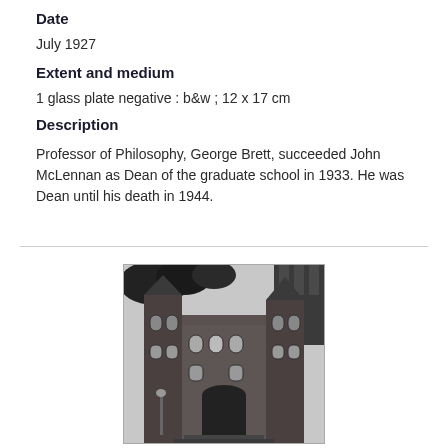Date
July 1927
Extent and medium
1 glass plate negative : b&w ; 12 x 17 cm
Description
Professor of Philosophy, George Brett, succeeded John McLennan as Dean of the graduate school in 1933. He was Dean until his death in 1944.
[Figure (photo): Black and white photograph of a historic stone university building with ornate Victorian architecture, towers, arched windows, and tree branches visible at top.]